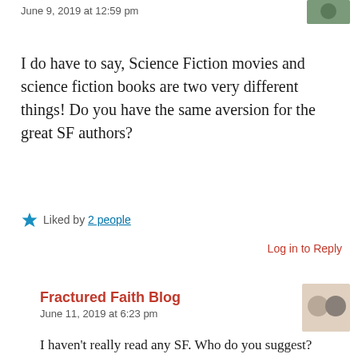June 9, 2019 at 12:59 pm
I do have to say, Science Fiction movies and science fiction books are two very different things! Do you have the same aversion for the great SF authors?
Liked by 2 people
Log in to Reply
Fractured Faith Blog
June 11, 2019 at 6:23 pm
I haven't really read any SF. Who do you suggest?
Like
Log in to Reply